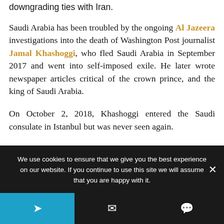downgrading ties with Iran.
Saudi Arabia has been troubled by the ongoing Al Jazeera investigations into the death of Washington Post journalist Jamal Khashoggi, who fled Saudi Arabia in September 2017 and went into self-imposed exile. He later wrote newspaper articles critical of the crown prince, and the king of Saudi Arabia.
On October 2, 2018, Khashoggi entered the Saudi consulate in Istanbul but was never seen again.
We use cookies to ensure that we give you the best experience on our website. If you continue to use this site we will assume that you are happy with it.